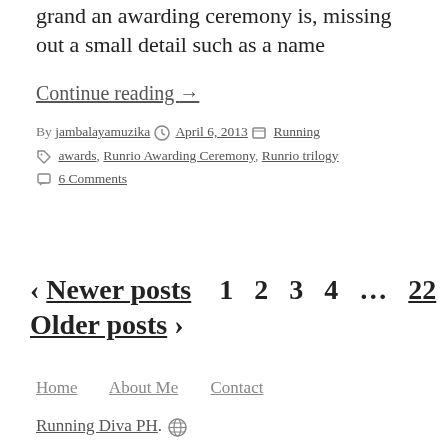grand an awarding ceremony is, missing out a small detail such as a name
Continue reading →
By jambalayamuzika  April 6, 2013  Running
Tags: awards, Runrio Awarding Ceremony, Runrio trilogy
6 Comments
‹ Newer posts  1  2  3  4  …  22  Older posts ›
Home  About Me  Contact
Running Diva PH. 🌐